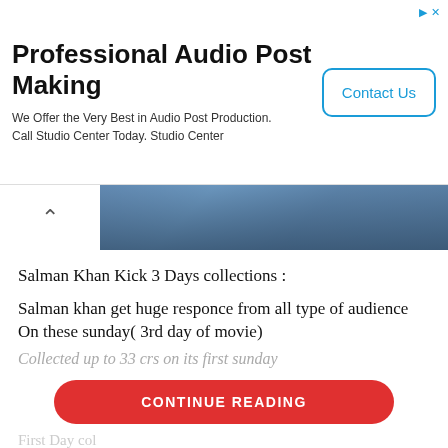[Figure (infographic): Advertisement banner for Professional Audio Post Making with Contact Us button]
[Figure (photo): Partial photo of a person in a blue jacket, partially cropped]
Salman Khan Kick 3 Days collections :
Salman khan get huge responce from all type of audience On these sunday( 3rd day of movie)
Collected up to 33 crs on its first sunday
CONTINUE READING
First Day col
Collected up to...on its first day of movie...